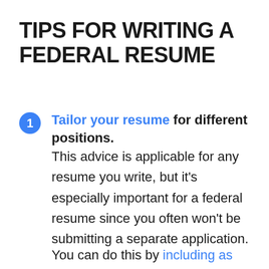TIPS FOR WRITING A FEDERAL RESUME
Tailor your resume for different positions. This advice is applicable for any resume you write, but it's especially important for a federal resume since you often won't be submitting a separate application.
You can do this by including as many